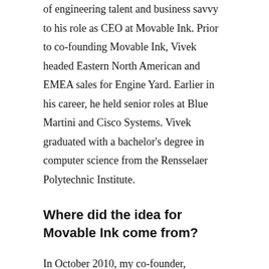of engineering talent and business savvy to his role as CEO at Movable Ink. Prior to co-founding Movable Ink, Vivek headed Eastern North American and EMEA sales for Engine Yard. Earlier in his career, he held senior roles at Blue Martini and Cisco Systems. Vivek graduated with a bachelor's degree in computer science from the Rensselaer Polytechnic Institute.
Where did the idea for Movable Ink come from?
In October 2010, my co-founder, Michael, and I had just put the last nail in the coffin of a failed startup idea called Market.io. We were down in the